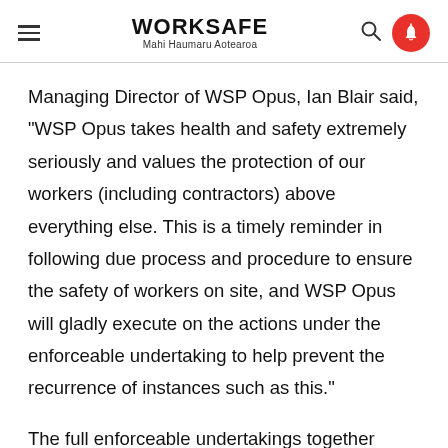WORKSAFE Mahi Haumaru Aotearoa
Managing Director of WSP Opus, Ian Blair said, “WSP Opus takes health and safety extremely seriously and values the protection of our workers (including contractors) above everything else. This is a timely reminder in following due process and procedure to ensure the safety of workers on site, and WSP Opus will gladly execute on the actions under the enforceable undertaking to help prevent the recurrence of instances such as this.”
The full enforceable undertakings together